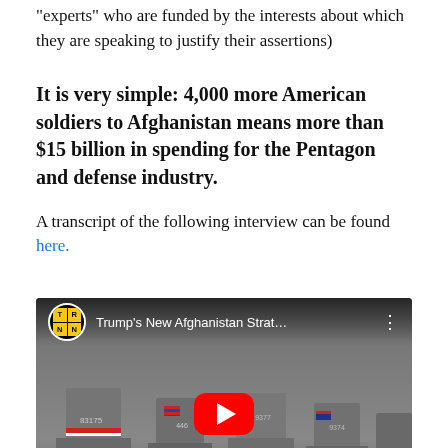"experts" who are funded by the interests about which they are speaking to justify their assertions)
It is very simple: 4,000 more American soldiers to Afghanistan means more than $15 billion in spending for the Pentagon and defense industry.
A transcript of the following interview can be found here.
[Figure (screenshot): YouTube video embed showing Trump's New Afghanistan Strat... with a channel logo (TRNN grid) and play button overlay on a background of military aircraft tail fins]